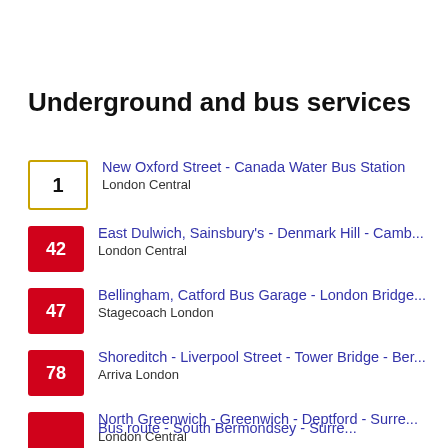Underground and bus services
1 | New Oxford Street - Canada Water Bus Station | London Central
42 | East Dulwich, Sainsbury's - Denmark Hill - Camb... | London Central
47 | Bellingham, Catford Bus Garage - London Bridge... | Stagecoach London
78 | Shoreditch - Liverpool Street - Tower Bridge - Ber... | Arriva London
188 | North Greenwich - Greenwich - Deptford - Surre... | London Central
343 | Aldgate - Tower Bridge - City Hall - Elephant & ... | London Central
(partial) Bus route - South Bermondsey - Surre...